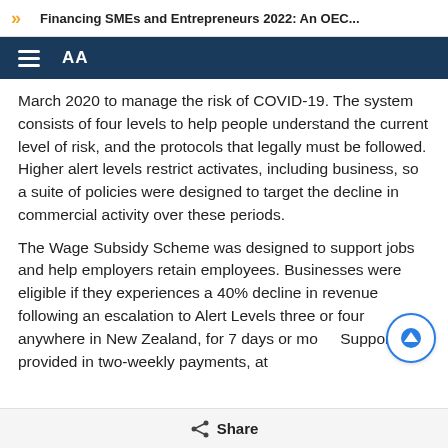Financing SMEs and Entrepreneurs 2022: An OEC...
March 2020 to manage the risk of COVID-19. The system consists of four levels to help people understand the current level of risk, and the protocols that legally must be followed. Higher alert levels restrict activates, including business, so a suite of policies were designed to target the decline in commercial activity over these periods.
The Wage Subsidy Scheme was designed to support jobs and help employers retain employees. Businesses were eligible if they experiences a 40% decline in revenue following an escalation to Alert Levels three or four anywhere in New Zealand, for 7 days or mo... Support was provided in two-weekly payments, at
Share